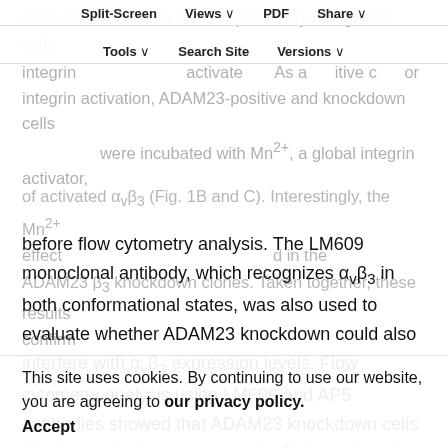Split-Screen | Views | PDF | Share | Tools | Search Site | Versions
extracellular calcium levels, specifically recognizes α_v β_3 integrin ... activate ... As a positive c ... or integrin activation, ADAM23-positive and knockdown cells were incubated with Mn²⁺, a global integrin activator,
before flow cytometry analysis. The LM609 monoclonal antibody, which recognizes α_v β_3 in both conformational states, was also used to evaluate whether ADAM23 knockdown could also interfere with α_v β_3 expression levels. Flow cytometry analysis using LM609 and AP5 antibodies showed that ADAM23 knockdown cells display equivalent amounts of α_v β_3 integrin at the cell surface, when compared with the parental cell line or with cell lines transfected with the empty vector, but have higher levels
of activated α_v β_3 (Fig. 1B and C). Interestingly, the Mn²⁺ effect ... in the ADAM23 β_3 knockdown clones. Taken together, these results confirm ...
This site uses cookies. By continuing to use our website, you are agreeing to our privacy policy. Accept